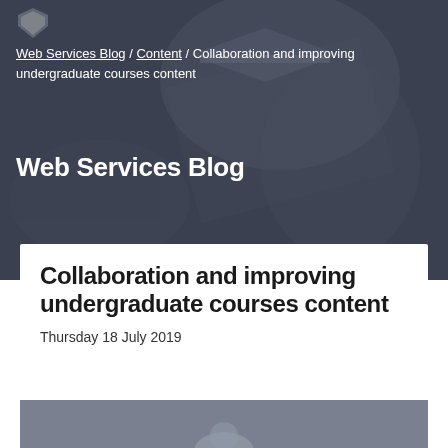[Figure (photo): Dark hero banner image with blurred graduation cap background, overlaid with dark blue-gray tint]
Web Services Blog / Content / Collaboration and improving undergraduate courses content
Web Services Blog
Collaboration and improving undergraduate courses content
Thursday 18 July 2019
[Figure (photo): Partial thumbnail image of a person, shown at bottom of card]